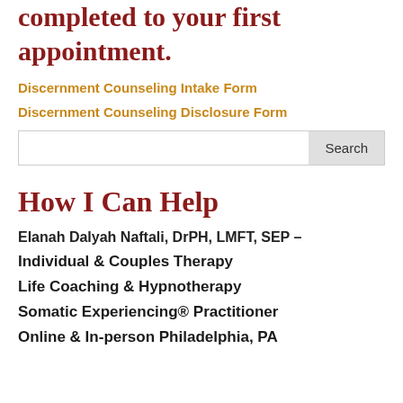completed to your first appointment.
Discernment Counseling Intake Form
Discernment Counseling Disclosure Form
How I Can Help
Elanah Dalyah Naftali, DrPH, LMFT, SEP –
Individual & Couples Therapy
Life Coaching & Hypnotherapy
Somatic Experiencing® Practitioner
Online & In-person Philadelphia, PA